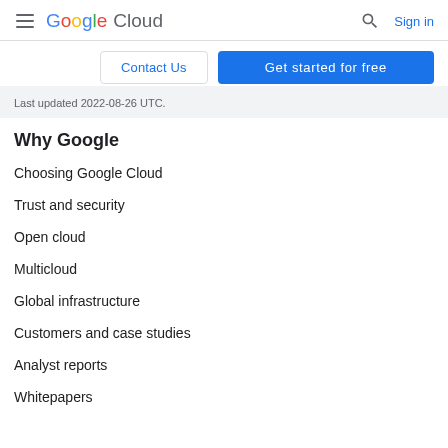Google Cloud — Sign in
Contact Us
Get started for free
Last updated 2022-08-26 UTC.
Why Google
Choosing Google Cloud
Trust and security
Open cloud
Multicloud
Global infrastructure
Customers and case studies
Analyst reports
Whitepapers